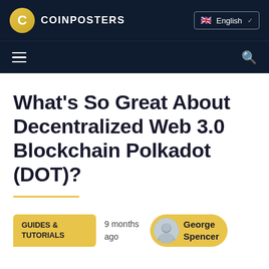COINPOSTERS | English
What's So Great About Decentralized Web 3.0 Blockchain Polkadot (DOT)?
GUIDES & TUTORIALS | 9 months ago | George Spencer